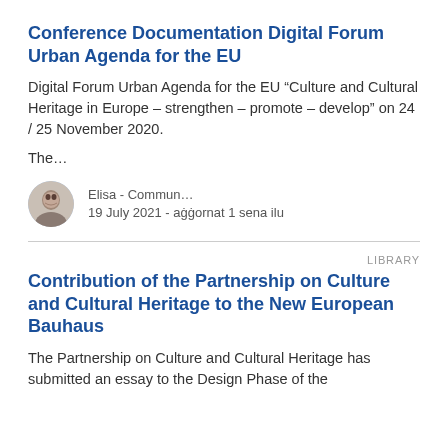Conference Documentation Digital Forum Urban Agenda for the EU
Digital Forum Urban Agenda for the EU “Culture and Cultural Heritage in Europe – strengthen – promote – develop” on 24 / 25 November 2020.
The…
Elisa - Commun…
19 July 2021 - aġġornat 1 sena ilu
LIBRARY
Contribution of the Partnership on Culture and Cultural Heritage to the New European Bauhaus
The Partnership on Culture and Cultural Heritage has submitted an essay to the Design Phase of the